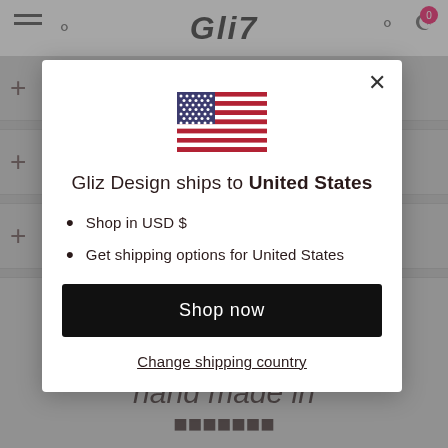[Figure (screenshot): Website background showing Gliz Design store header with logo, menu icon, search, cart, and product list rows partially visible]
[Figure (illustration): US flag emoji/icon centered in modal]
Gliz Design ships to United States
Shop in USD $
Get shipping options for United States
Shop now
Change shipping country